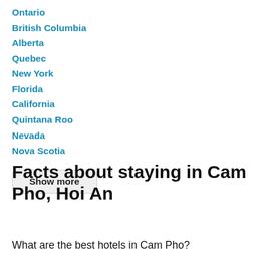Ontario
British Columbia
Alberta
Quebec
New York
Florida
California
Quintana Roo
Nevada
Nova Scotia
Show more
Facts about staying in Cam Pho, Hoi An
What are the best hotels in Cam Pho?